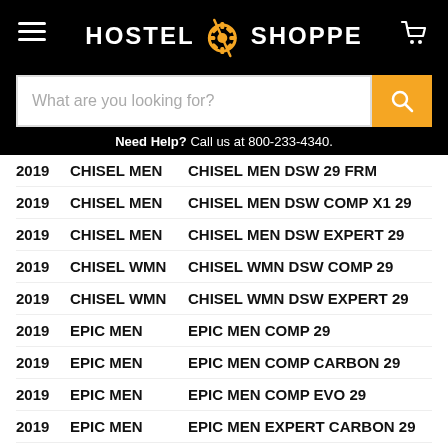[Figure (screenshot): Hostel Shoppe website header with hamburger menu, logo, cart icon, search bar, and help text]
2019   CHISEL MEN   CHISEL MEN DSW 29 FRM
2019   CHISEL MEN   CHISEL MEN DSW COMP X1 29
2019   CHISEL MEN   CHISEL MEN DSW EXPERT 29
2019   CHISEL WMN   CHISEL WMN DSW COMP 29
2019   CHISEL WMN   CHISEL WMN DSW EXPERT 29
2019   EPIC MEN   EPIC MEN COMP 29
2019   EPIC MEN   EPIC MEN COMP CARBON 29
2019   EPIC MEN   EPIC MEN COMP EVO 29
2019   EPIC MEN   EPIC MEN EXPERT CARBON 29
2019   EPIC MEN   EPIC MEN EXPERT CARBON EVO 29
2019   EPIC MEN   EPIC MEN PRO CARBON 29
2019   EPIC MEN   EPIC MEN SW CARBON EVO